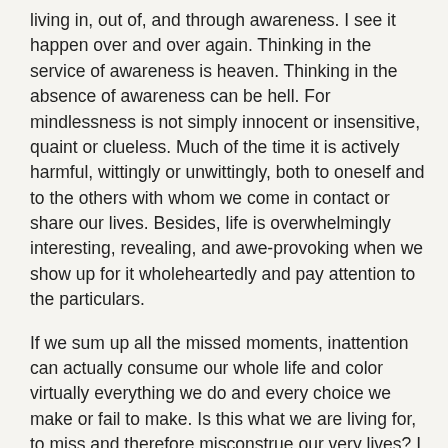living in, out of, and through awareness. I see it happen over and over again. Thinking in the service of awareness is heaven. Thinking in the absence of awareness can be hell. For mindlessness is not simply innocent or insensitive, quaint or clueless. Much of the time it is actively harmful, wittingly or unwittingly, both to oneself and to the others with whom we come in contact or share our lives. Besides, life is overwhelmingly interesting, revealing, and awe-provoking when we show up for it wholeheartedly and pay attention to the particulars.
If we sum up all the missed moments, inattention can actually consume our whole life and color virtually everything we do and every choice we make or fail to make. Is this what we are living for, to miss and therefore misconstrue our very lives? I prefer going into the adventure every day with my eyes open, paying attention to what is most important, even if I keep getting confronted, at times, with the feebleness of my efforts